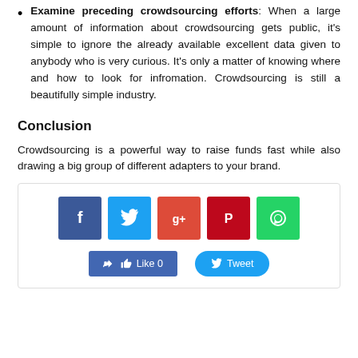Examine preceding crowdsourcing efforts: When a large amount of information about crowdsourcing gets public, it's simple to ignore the already available excellent data given to anybody who is very curious. It's only a matter of knowing where and how to look for infromation. Crowdsourcing is still a beautifully simple industry.
Conclusion
Crowdsourcing is a powerful way to raise funds fast while also drawing a big group of different adapters to your brand.
[Figure (infographic): Social sharing widget with Facebook, Twitter, Google+, Pinterest, and WhatsApp icon buttons, plus Like 0 and Tweet action buttons below.]